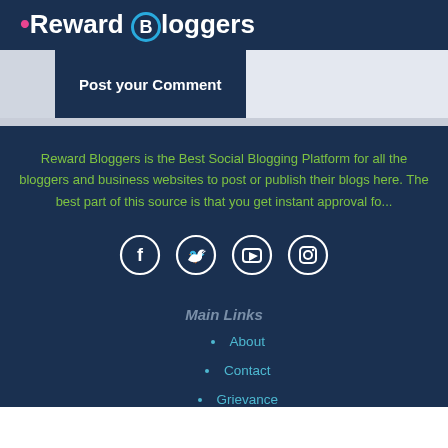Reward Bloggers
Post your Comment
Reward Bloggers is the Best Social Blogging Platform for all the bloggers and business websites to post or publish their blogs here. The best part of this source is that you get instant approval fo...
[Figure (infographic): Four social media icons in circles: Facebook, Twitter, YouTube, Instagram]
Main Links
About
Contact
Grievance